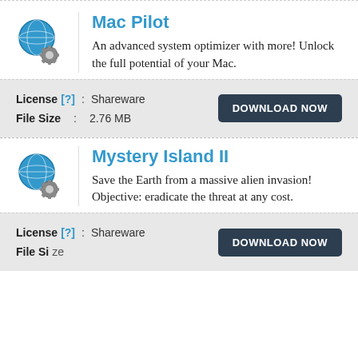[Figure (logo): Globe icon with gear/cog for Mac Pilot app]
Mac Pilot
An advanced system optimizer with more! Unlock the full potential of your Mac.
License [?] :  Shareware
File Size :  2.76 MB
[Figure (logo): Globe icon with gear/cog for Mystery Island II app]
Mystery Island II
Save the Earth from a massive alien invasion! Objective: eradicate the threat at any cost.
License [?] :  Shareware
File Size :  50.00 MB